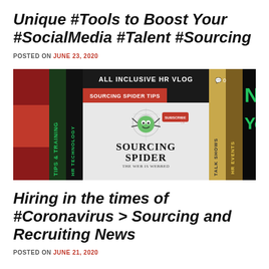Unique #Tools to Boost Your #SocialMedia #Talent #Sourcing
POSTED ON JUNE 23, 2020
[Figure (screenshot): Sourcing Spider YouTube channel thumbnail showing multiple panels: 'Sourcing Spider Tips', 'All Inclusive HR Vlog', 'Tips & Training', 'HR Technology', 'Talk Shows', 'HR Events', and partial text 'Yo', with a cartoon spider logo and the text 'Sourcing Spider - The Web is Webbed']
Hiring in the times of #Coronavirus > Sourcing and Recruiting News
POSTED ON JUNE 21, 2020